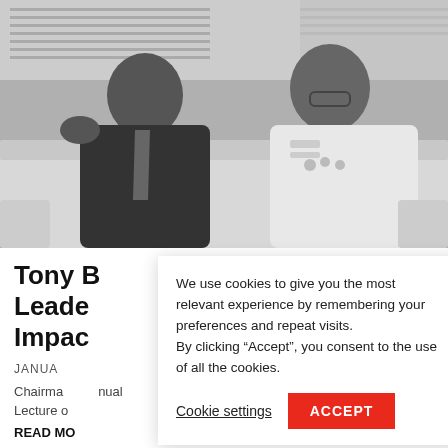[Figure (photo): Black and white photograph of two men sitting on a sofa. The man on the left is wearing a dark suit and tie with his hand raised gesturing. The man on the right is wearing a white military uniform with insignia and medals.]
Tony B[lair Africa] lege: Leade[rship, Strateg]y and Impac[t]
JANUA[RY ...]
Chairma[n ...] nual Lecture o[f ...]
READ MO[RE]
We use cookies to give you the most relevant experience by remembering your preferences and repeat visits.
By clicking “Accept”, you consent to the use of all the cookies.